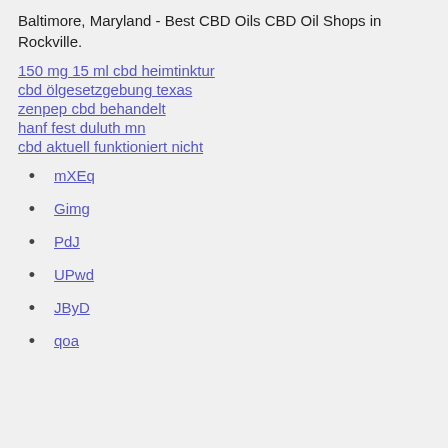Baltimore, Maryland - Best CBD Oils CBD Oil Shops in Rockville.
150 mg 15 ml cbd heimtinktur
cbd ölgesetzgebung texas
zenpep cbd behandelt
hanf fest duluth mn
cbd aktuell funktioniert nicht
mXEq
Gimg
PdJ
UPwd
JByD
qoa